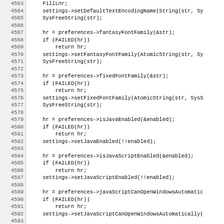[Figure (screenshot): Source code listing showing C++ code lines 4563-4595, with line numbers in a grey left column and code in a white right area. The code shows settings and preferences API calls for browser engine configuration.]